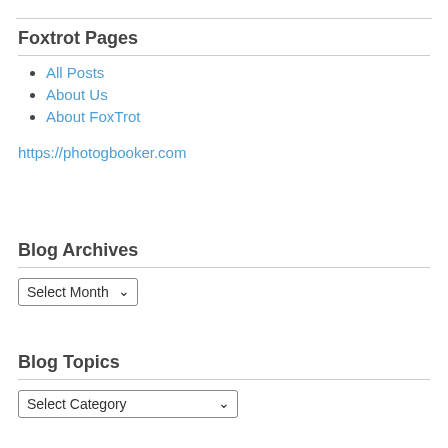Foxtrot Pages
All Posts
About Us
About FoxTrot
https://photogbooker.com
Blog Archives
Select Month
Blog Topics
Select Category